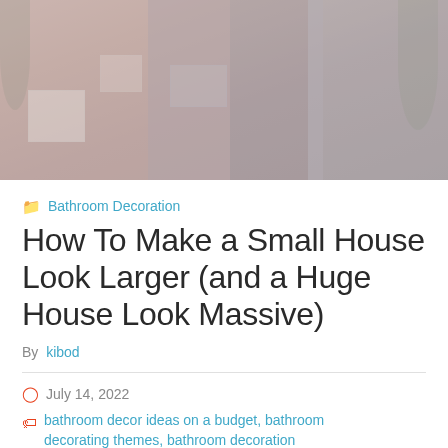[Figure (photo): Exterior photo of houses on a residential street, muted/faded colors, showing a pink house on the left and grey/white houses in the center and right.]
Bathroom Decoration
How To Make a Small House Look Larger (and a Huge House Look Massive)
By kibod
July 14, 2022
bathroom decor ideas on a budget, bathroom decorating themes, bathroom decoration